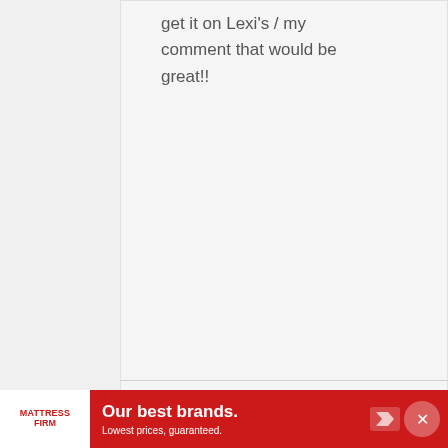get it on Lexi's / my comment that would be great!!
Noah says
MARCH 13, 2020 AT 21:49
Mine is golden brown too and is 5 months with short to medium length hair, does yours have long or short
[Figure (infographic): Mattress Firm advertisement banner: 'Our best brands. Lowest prices, guaranteed.']